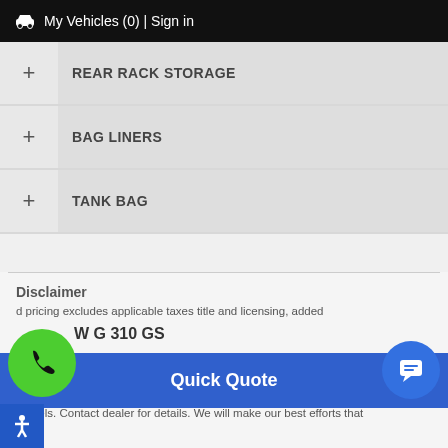My Vehicles (0) | Sign in
+ REAR RACK STORAGE
+ BAG LINERS
+ TANK BAG
Disclaimer
d pricing excludes applicable taxes title and licensing, added
W G 310 GS
Quick Quote
models. Contact dealer for details. We will make our best efforts that